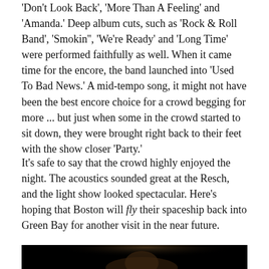'Don't Look Back', 'More Than A Feeling' and 'Amanda.' Deep album cuts, such as 'Rock & Roll Band', 'Smokin'', 'We're Ready' and 'Long Time' were performed faithfully as well. When it came time for the encore, the band launched into 'Used To Bad News.' A mid-tempo song, it might not have been the best encore choice for a crowd begging for more ... but just when some in the crowd started to sit down, they were brought right back to their feet with the show closer 'Party.'
It's safe to say that the crowd highly enjoyed the night. The acoustics sounded great at the Resch, and the light show looked spectacular. Here's hoping that Boston will fly their spaceship back into Green Bay for another visit in the near future.
[Figure (photo): Concert photo of a performer singing at a microphone on stage, lit from above against a dark background. The performer has medium-length hair and is wearing a dark outfit with a red accent.]